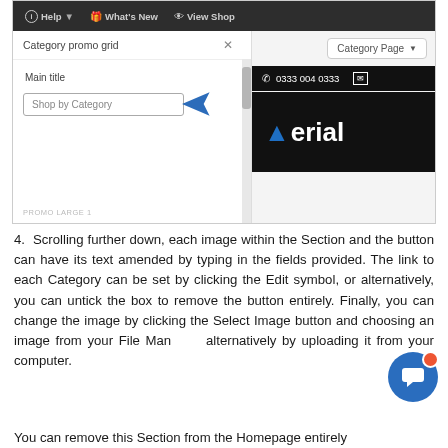[Figure (screenshot): Screenshot of a website editor panel showing 'Category promo grid' settings with 'Main title' field containing 'Shop by Category', an arrow pointing left from the Aerial logo to the text field, and a Category Page dropdown. The dark top navigation bar shows Help, What's New, and View Shop options.]
4. Scrolling further down, each image within the Section and the button can have its text amended by typing in the fields provided. The link to each Category can be set by clicking the Edit symbol, or alternatively, you can untick the box to remove the button entirely. Finally, you can change the image by clicking the Select Image button and choosing an image from your File Manager, alternatively by uploading it from your computer.
You can remove this Section from the Homepage entirely